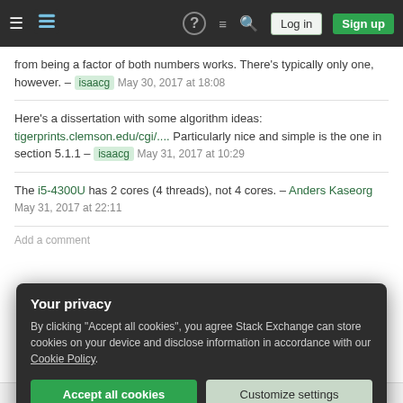[Figure (screenshot): Stack Exchange navigation bar with hamburger menu, logo, help icon, chat icon, search icon, Log in button, and Sign up button]
from being a factor of both numbers works. There's typically only one, however. – isaacg May 30, 2017 at 18:08
Here's a dissertation with some algorithm ideas: tigerprints.clemson.edu/cgi/.... Particularly nice and simple is the one in section 5.1.1 – isaacg May 31, 2017 at 10:29
The i5-4300U has 2 cores (4 threads), not 4 cores. – Anders Kaseorg May 31, 2017 at 22:11
Add a comment
Your privacy
By clicking "Accept all cookies", you agree Stack Exchange can store cookies on your device and disclose information in accordance with our Cookie Policy.
src/main.rs